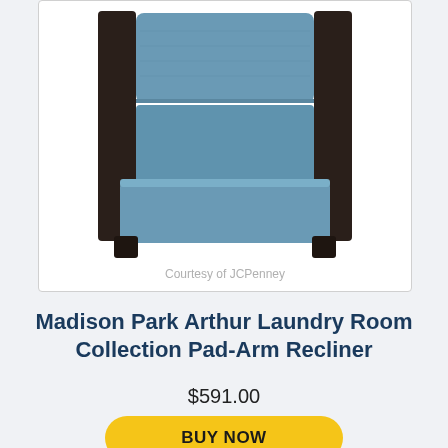[Figure (photo): Top-down view of a blue upholstered pad-arm recliner chair with dark wooden arms, shown against a white background. Watermark reads 'Courtesy of JCPenney'.]
Courtesy of JCPenney
Madison Park Arthur Laundry Room Collection Pad-Arm Recliner
$591.00
BUY NOW